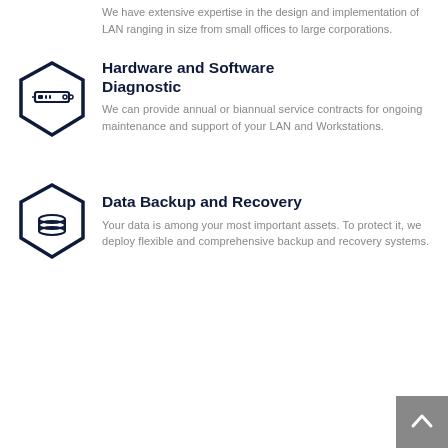We have extensive expertise in the design and implementation of LAN ranging in size from small offices to large corporations.
[Figure (illustration): Hexagon icon with a server/router device symbol, dark navy outline]
Hardware and Software Diagnostic
We can provide annual or biannual service contracts for ongoing maintenance and support of your LAN and Workstations.
[Figure (illustration): Hexagon icon with a database stack symbol, dark navy outline]
Data Backup and Recovery
Your data is among your most important assets. To protect it, we deploy flexible and comprehensive backup and recovery systems.